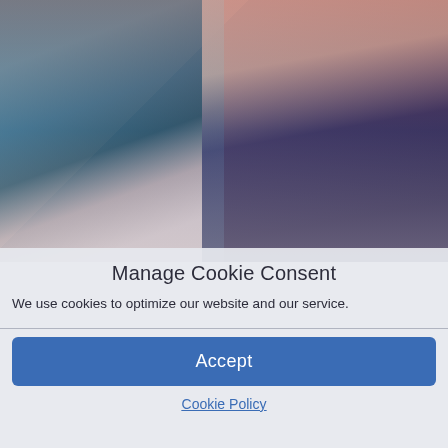[Figure (photo): Two people standing in front of a red background with large letters. Left person is a woman with dark bangs wearing a teal/blue sequined puff-sleeve dress. Right person is a man wearing a white striped shirt and dark navy suit.]
Manage Cookie Consent
We use cookies to optimize our website and our service.
Accept
Cookie Policy